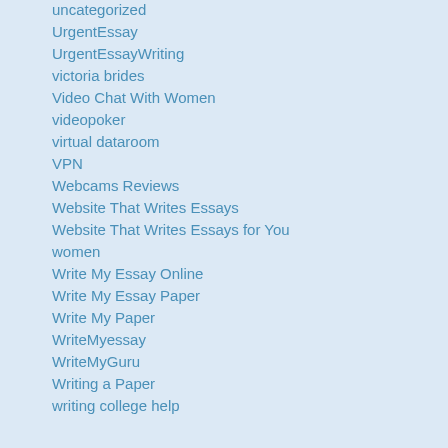uncategorized
UrgentEssay
UrgentEssayWriting
victoria brides
Video Chat With Women
videopoker
virtual dataroom
VPN
Webcams Reviews
Website That Writes Essays
Website That Writes Essays for You
women
Write My Essay Online
Write My Essay Paper
Write My Paper
WriteMyessay
WriteMyGuru
Writing a Paper
writing college help